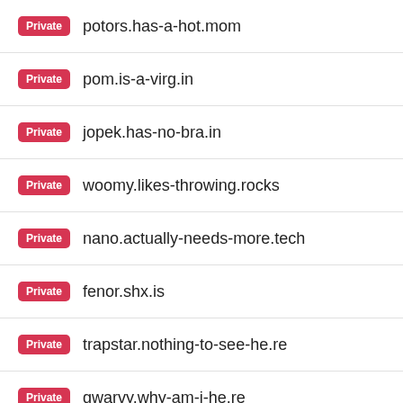Private potors.has-a-hot.mom
Private pom.is-a-virg.in
Private jopek.has-no-bra.in
Private woomy.likes-throwing.rocks
Private nano.actually-needs-more.tech
Private fenor.shx.is
Private trapstar.nothing-to-see-he.re
Private gwarvy.why-am-i-he.re